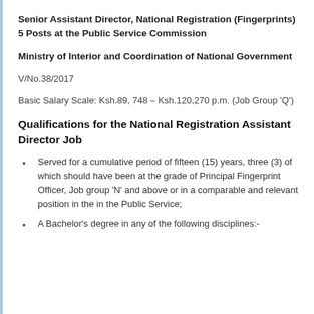Senior Assistant Director, National Registration (Fingerprints) 5 Posts at the Public Service Commission
Ministry of Interior and Coordination of National Government
V/No.38/2017
Basic Salary Scale: Ksh.89, 748 – Ksh.120,270 p.m. (Job Group 'Q')
Qualifications for the National Registration Assistant Director Job
Served for a cumulative period of fifteen (15) years, three (3) of which should have been at the grade of Principal Fingerprint Officer, Job group 'N' and above or in a comparable and relevant position in the in the Public Service;
A Bachelor's degree in any of the following disciplines:-